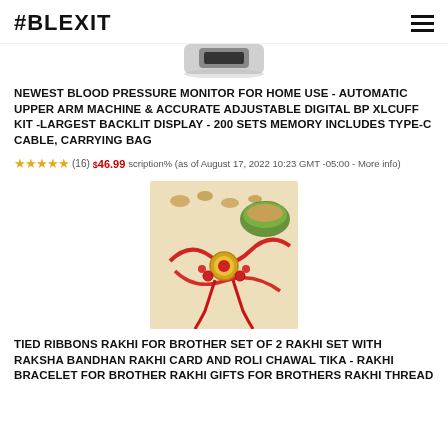#BLEXIT
[Figure (photo): Partial product image of a blood pressure monitor, top portion visible]
NEWEST BLOOD PRESSURE MONITOR FOR HOME USE - AUTOMATIC UPPER ARM MACHINE & ACCURATE ADJUSTABLE DIGITAL BP XLCUFF KIT -LARGEST BACKLIT DISPLAY - 200 SETS MEMORY INCLUDES TYPE-C CABLE, CARRYING BAG
★★★★★ (16) $46.99 scription% (as of August 17, 2022 10:23 GMT -05:00 - More info)
[Figure (photo): Rakhi bracelet with red thread and decorative beads, nuts and bowl in background]
TIED RIBBONS RAKHI FOR BROTHER SET OF 2 RAKHI SET WITH RAKSHA BANDHAN RAKHI CARD AND ROLI CHAWAL TIKA - RAKHI BRACELET FOR BROTHER RAKHI GIFTS FOR BROTHERS RAKHI THREAD